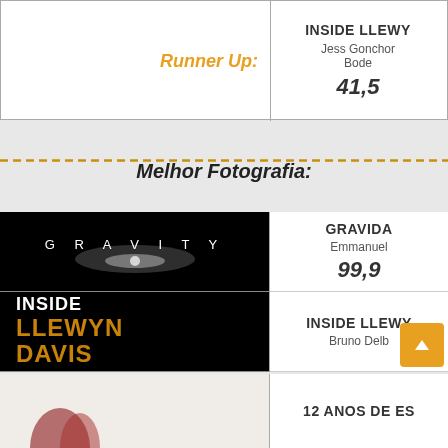Runner Up:
INSIDE LLEWY
Jess Goncho
Bode
41,5
Melhor Fotografia:
[Figure (photo): GRAVITY movie logo on black background]
GRAVIDA
Emmanuel
99,9
[Figure (photo): INSIDE LLEWYN DAVIS movie logo on black background]
INSIDE LLEWY
Bruno Delb
12 ANOS DE ES